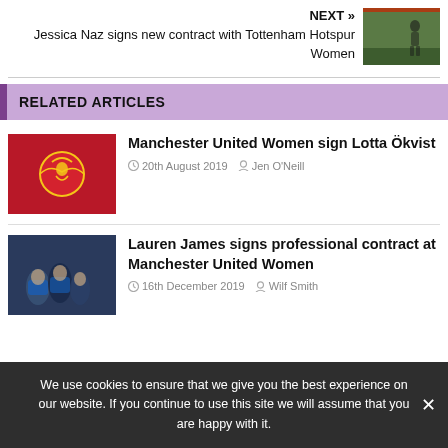NEXT » Jessica Naz signs new contract with Tottenham Hotspur Women
RELATED ARTICLES
Manchester United Women sign Lotta Ökvist
20th August 2019   Jen O'Neill
Lauren James signs professional contract at Manchester United Women
16th December 2019   Wilf Smith
We use cookies to ensure that we give you the best experience on our website. If you continue to use this site we will assume that you are happy with it.